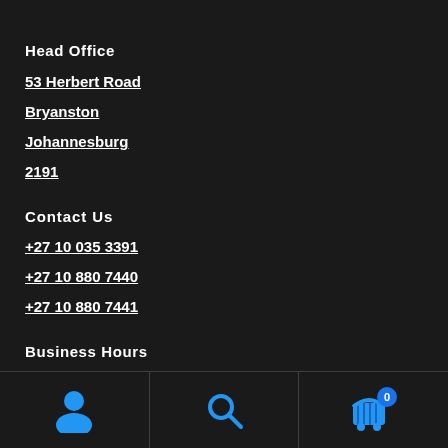Head Office
53 Herbert Road
Bryanston
Johannesburg
2191
Contact Us
+27 10 035 3391
+27 10 880 7440
+27 10 880 7441
Business Hours
Monday—Friday: 8:00AM–5:00PM
[Figure (infographic): Bottom navigation bar with three icons: user/person icon on left, search/magnifying glass icon in center, and shopping cart icon with badge showing 0 on right]